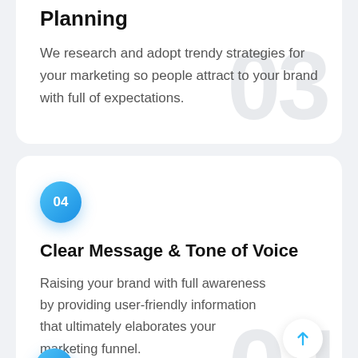Planning
We research and adopt trendy strategies for your marketing so people attract to your brand with full of expectations.
04
Clear Message & Tone of Voice
Raising your brand with full awareness by providing user-friendly information that ultimately elaborates your marketing funnel.